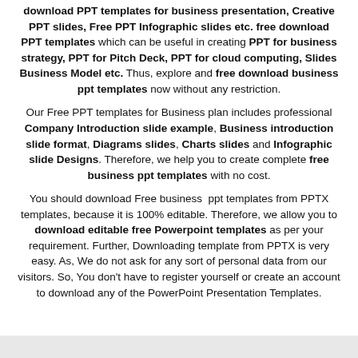download PPT templates for business presentation, Creative PPT slides, Free PPT Infographic slides etc. free download PPT templates which can be useful in creating PPT for business strategy, PPT for Pitch Deck, PPT for cloud computing, Slides Business Model etc. Thus, explore and free download business ppt templates now without any restriction.
Our Free PPT templates for Business plan includes professional Company Introduction slide example, Business introduction slide format, Diagrams slides, Charts slides and Infographic slide Designs. Therefore, we help you to create complete free business ppt templates with no cost.
You should download Free business ppt templates from PPTX templates, because it is 100% editable. Therefore, we allow you to download editable free Powerpoint templates as per your requirement. Further, Downloading template from PPTX is very easy. As, We do not ask for any sort of personal data from our visitors. So, You don't have to register yourself or create an account to download any of the PowerPoint Presentation Templates.